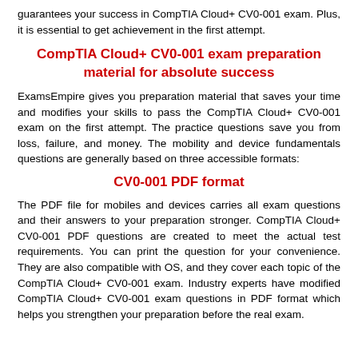guarantees your success in CompTIA Cloud+ CV0-001 exam. Plus, it is essential to get achievement in the first attempt.
CompTIA Cloud+ CV0-001 exam preparation material for absolute success
ExamsEmpire gives you preparation material that saves your time and modifies your skills to pass the CompTIA Cloud+ CV0-001 exam on the first attempt. The practice questions save you from loss, failure, and money. The mobility and device fundamentals questions are generally based on three accessible formats:
CV0-001 PDF format
The PDF file for mobiles and devices carries all exam questions and their answers to your preparation stronger. CompTIA Cloud+ CV0-001 PDF questions are created to meet the actual test requirements. You can print the question for your convenience. They are also compatible with OS, and they cover each topic of the CompTIA Cloud+ CV0-001 exam. Industry experts have modified CompTIA Cloud+ CV0-001 exam questions in PDF format which helps you strengthen your preparation before the real exam.